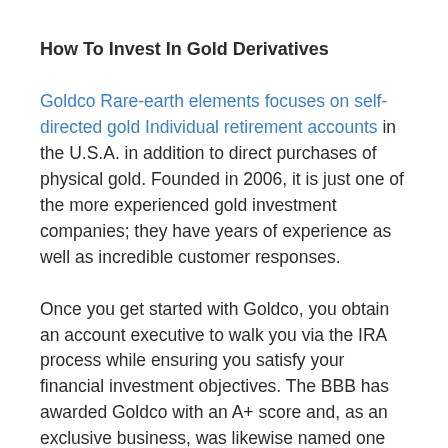How To Invest In Gold Derivatives
Goldco Rare-earth elements focuses on self-directed gold Individual retirement accounts in the U.S.A. in addition to direct purchases of physical gold. Founded in 2006, it is just one of the more experienced gold investment companies; they have years of experience as well as incredible customer responses.
Once you get started with Goldco, you obtain an account executive to walk you via the IRA process while ensuring you satisfy your financial investment objectives. The BBB has awarded Goldco with an A+ score and, as an exclusive business, was likewise named one